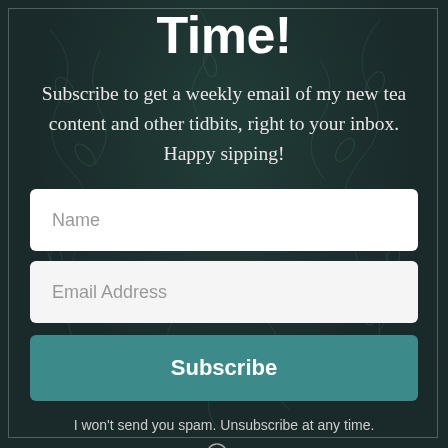Time!
Subscribe to get a weekly email of my new tea content and other tidbits, right to your inbox. Happy sipping!
[Figure (other): Email subscription form with Name input field, Email Address input field, and a teal Subscribe button]
I won't send you spam. Unsubscribe at any time.
BUILT WITH ConvertKit